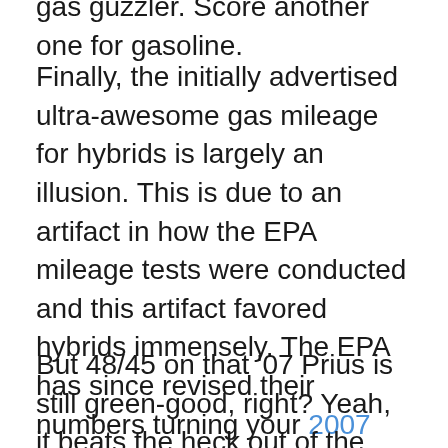gas guzzler. Score another one for gasoline.
Finally, the initially advertised ultra-awesome gas mileage for hybrids is largely an illusion. This is due to an artifact in how the EPA mileage tests were conducted and this artifact favored hybrids immensely. The EPA has since revised their numbers turning your 2007 Prius from 60/51 to a 48/45. That would be a 20% decrease in estimated city gas mileage (which is still higher than what you actually get in practice. Wired has a nice bit on this phenomenon, noting that Consumer Reports was routinely getting less than 60% of the EPA numbers on their real-life road testing.
But 48/45 on that '07 Prius is still green-good, right? Yeah, it beats the heck out of the mammoth SUV, but still pales in comparison with the real-world 72 MPG you'll get out of